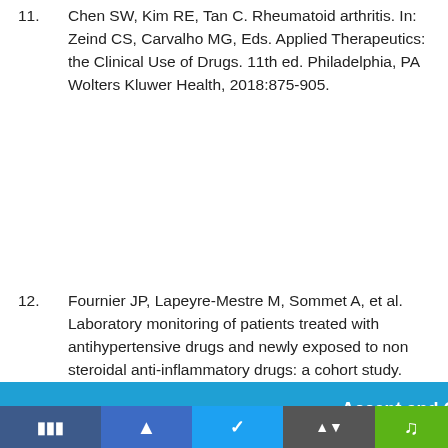11. Chen SW, Kim RE, Tan C. Rheumatoid arthritis. In: Zeind CS, Carvalho MG, Eds. Applied Therapeutics: the Clinical Use of Drugs. 11th ed. Philadelphia, PA Wolters Kluwer Health, 2018:875-905.
12. Fournier JP, Lapeyre-Mestre M, Sommet A, et al. Laboratory monitoring of patients treated with antihypertensive drugs and newly exposed to non steroidal anti-inflammatory drugs: a cohort study. PLoS One 2012;7:e34187. doi:
Our site uses cookies. By continuing to use our site you are agreeing to our privacy and cookies policy. Learn more
ege on of
Accept and Close